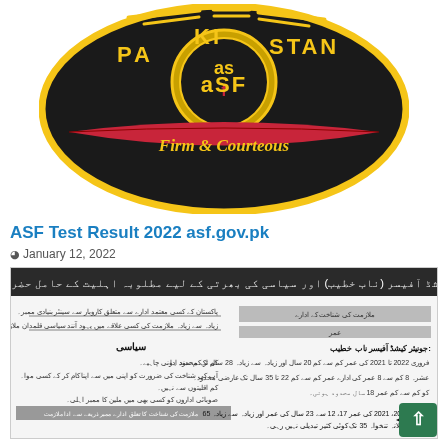[Figure (logo): ASF Pakistan circular logo with 'ASF' in center circle, 'PAKISTAN' text, red banner with 'Firm & Courteous' motto, dark background]
ASF Test Result 2022 asf.gov.pk
January 12, 2022
[Figure (screenshot): Scanned document in Urdu language showing Pakistan Army Junior Commissioned Officer recruitment information with eligibility criteria, age requirements and other details]